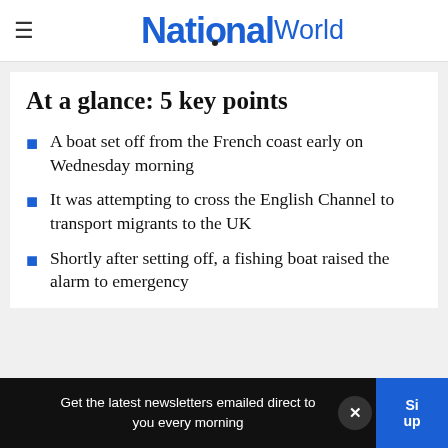NationalWorld
At a glance: 5 key points
A boat set off from the French coast early on Wednesday morning
It was attempting to cross the English Channel to transport migrants to the UK
Shortly after setting off, a fishing boat raised the alarm to emergency
Get the latest newsletters emailed direct to you every morning